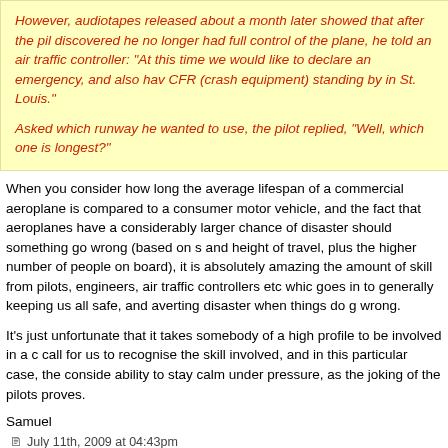However, audiotapes released about a month later showed that after the pilot discovered he no longer had full control of the plane, he told an air traffic controller: "At this time we would like to declare an emergency, and also have CFR (crash equipment) standing by in St. Louis."
Asked which runway he wanted to use, the pilot replied, "Well, which one is longest?"
When you consider how long the average lifespan of a commercial aeroplane is compared to a consumer motor vehicle, and the fact that aeroplanes have a considerably larger chance of disaster should something go wrong (based on speed and height of travel, plus the higher number of people on board), it is absolutely amazing the amount of skill from pilots, engineers, air traffic controllers etc which goes in to generally keeping us all safe, and averting disaster when things do go wrong.
It’s just unfortunate that it takes somebody of a high profile to be involved in a close call for us to recognise the skill involved, and in this particular case, the considerable ability to stay calm under pressure, as the joking of the pilots proves.
Samuel
July 11th, 2009 at 04:43pm